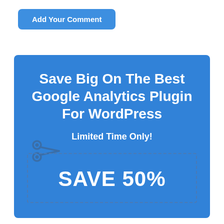Add Your Comment
[Figure (infographic): Blue promotional banner for Google Analytics WordPress plugin with coupon scissors icon and SAVE 50% text]
Save Big On The Best Google Analytics Plugin For WordPress
Limited Time Only!
SAVE 50%